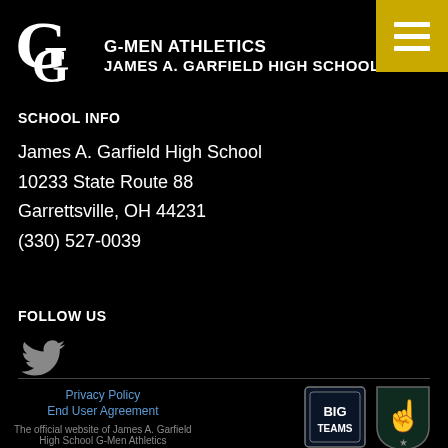G-MEN ATHLETICS JAMES A. GARFIELD HIGH SCHOOL
SCHOOL INFO
James A. Garfield High School
10233 State Route 88
Garrettsville, OH 44231
(330) 527-0039
FOLLOW US
[Figure (logo): Twitter bird icon in gray]
Privacy Policy | End User Agreement | The official website of James A. Garfield High School G-Men Athletics